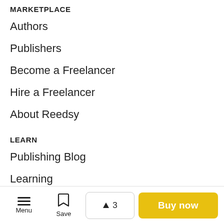MARKETPLACE
Authors
Publishers
Become a Freelancer
Hire a Freelancer
About Reedsy
LEARN
Publishing Blog
Learning
Live
Freelancer
RESOURCES
Menu | Save | ▲ 3 | Buy now